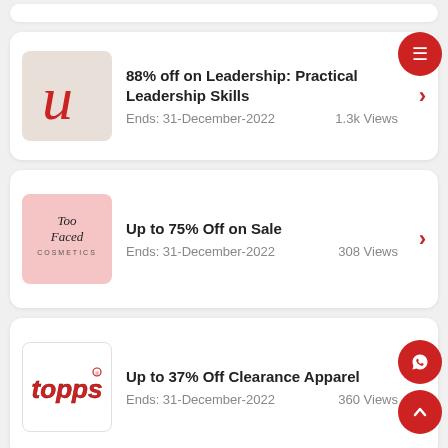88% off on Leadership: Practical Leadership Skills — Ends: 31-December-2022 — 1.3k Views
Up to 75% Off on Sale — Ends: 31-December-2022 — 308 Views
Up to 37% Off Clearance Apparel — Ends: 31-December-2022 — 360 Views